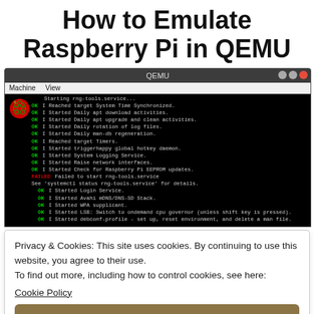How to Emulate Raspberry Pi in QEMU
[Figure (screenshot): QEMU window showing Raspberry Pi boot terminal output with green OK status messages and one red FAILED message for rng-tools.service]
Privacy & Cookies: This site uses cookies. By continuing to use this website, you agree to their use.
To find out more, including how to control cookies, see here:
Cookie Policy
Close and accept
QEMU is an open source emulator that can emulate